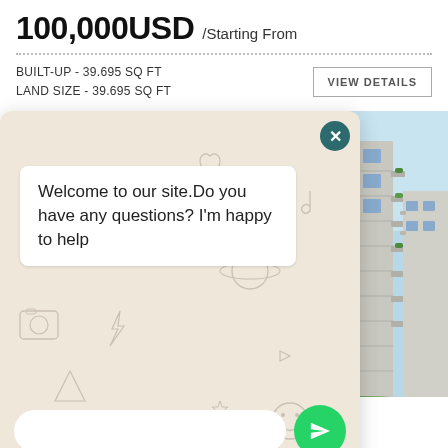100,000USD /Starting From
BUILT-UP - 39.695 SQ FT
LAND SIZE - 39.695 SQ FT
VIEW DETAILS
[Figure (screenshot): WhatsApp chat overlay with message: Welcome to our site.Do you have any questions? I'm happy to help, with input field and send button]
[Figure (photo): Modern luxury apartment building with balconies and green landscaping, Zeytinburnu Istanbul]
Excellent Sea-Side Luxury Project in Zeytinburnu, Istanbul